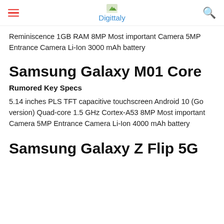Digittaly
Reminiscence 1GB RAM 8MP Most important Camera 5MP Entrance Camera Li-Ion 3000 mAh battery
Samsung Galaxy M01 Core
Rumored Key Specs
5.14 inches PLS TFT capacitive touchscreen Android 10 (Go version) Quad-core 1.5 GHz Cortex-A53 8MP Most important Camera 5MP Entrance Camera Li-Ion 4000 mAh battery
Samsung Galaxy Z Flip 5G